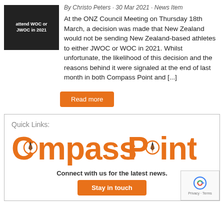[Figure (photo): Black and white thumbnail image with text 'attend WOC or JWOC in 2021']
By Christo Peters · 30 Mar 2021 · News Item
At the ONZ Council Meeting on Thursday 18th March, a decision was made that New Zealand would not be sending New Zealand-based athletes to either JWOC or WOC in 2021. Whilst unfortunate, the likelihood of this decision and the reasons behind it were signaled at the end of last month in both Compass Point and [...]
Read more
Quick Links:
[Figure (logo): Compass Point logo in orange with compass needle icons replacing the 'o' letters]
Connect with us for the latest news.
Stay in touch